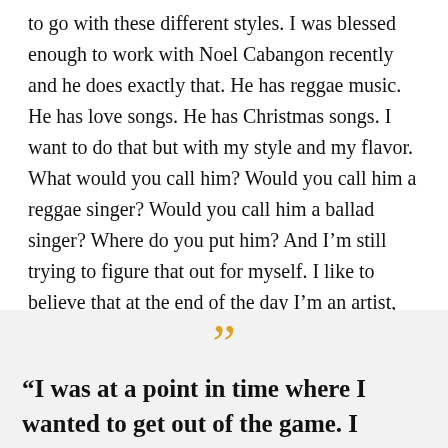to go with these different styles. I was blessed enough to work with Noel Cabangon recently and he does exactly that. He has reggae music. He has love songs. He has Christmas songs. I want to do that but with my style and my flavor. What would you call him? Would you call him a reggae singer? Would you call him a ballad singer? Where do you put him? And I'm still trying to figure that out for myself. I like to believe that at the end of the day I'm an artist, trying to express himself with rhythm and poetry and melodies.
“I was at a point in time where I wanted to get out of the game. I